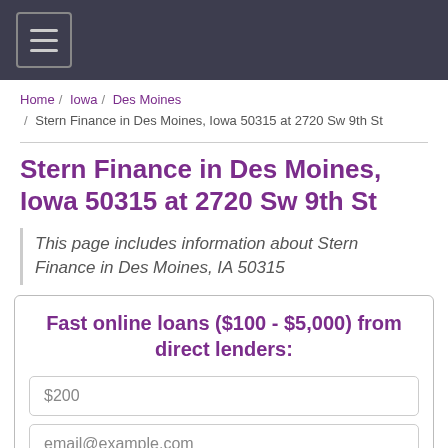[hamburger menu icon]
Home / Iowa / Des Moines / Stern Finance in Des Moines, Iowa 50315 at 2720 Sw 9th St
Stern Finance in Des Moines, Iowa 50315 at 2720 Sw 9th St
This page includes information about Stern Finance in Des Moines, IA 50315
Fast online loans ($100 - $5,000) from direct lenders:
$200
email@example.com